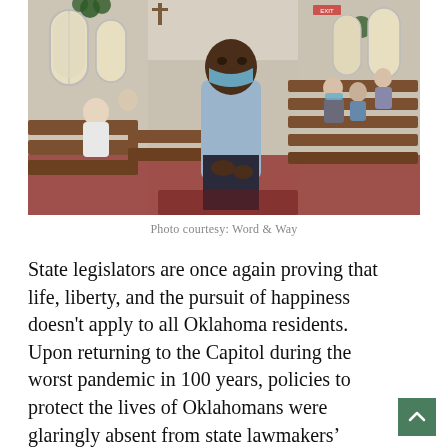[Figure (photo): Interior of a church sanctuary with wooden pews. A tall Black man wearing a blue mask and light blue shirt stands in the center aisle. Several elderly white congregants sit spread out in the pews behind him, also wearing masks. Tall arched windows and holiday greenery decorations are visible on the walls.]
Photo courtesy: Word & Way
State legislators are once again proving that life, liberty, and the pursuit of happiness doesn't apply to all Oklahoma residents. Upon returning to the Capitol during the worst pandemic in 100 years, policies to protect the lives of Oklahomans were glaringly absent from state lawmakers' priority list.